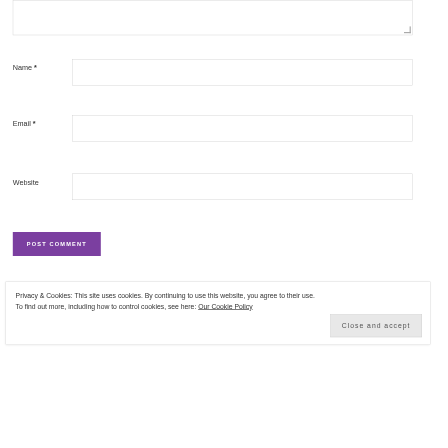[Figure (screenshot): Partial view of a comment form textarea at the top of the page, showing only the bottom portion of the input box with a resize handle.]
Name *
[Figure (screenshot): Empty text input field for Name]
Email *
[Figure (screenshot): Empty text input field for Email]
Website
[Figure (screenshot): Empty text input field for Website]
[Figure (screenshot): Purple button labeled POST COMMENT in white uppercase letters]
Privacy & Cookies: This site uses cookies. By continuing to use this website, you agree to their use.
To find out more, including how to control cookies, see here: Our Cookie Policy
Close and accept